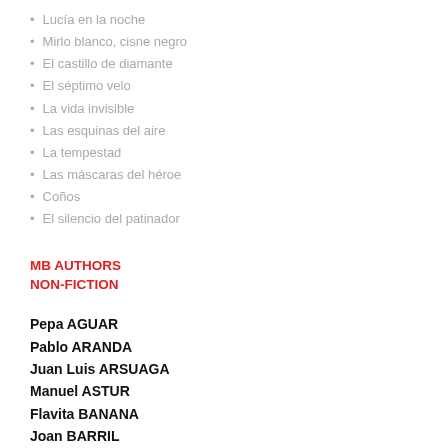Lucía en la noche
Mirlo blanco, cisne negro
El castillo de diamante
El séptimo velo
La vida invisible
Las esquinas del aire
La tempestad
Las máscaras del héroe
Coños
El silencio del patinador
MB AUTHORS
NON-FICTION
Pepa AGUAR
Pablo ARANDA
Juan Luis ARSUAGA
Manuel ASTUR
Flavita BANANA
Joan BARRIL
Nuria BARRIOS
María BASTARÓS